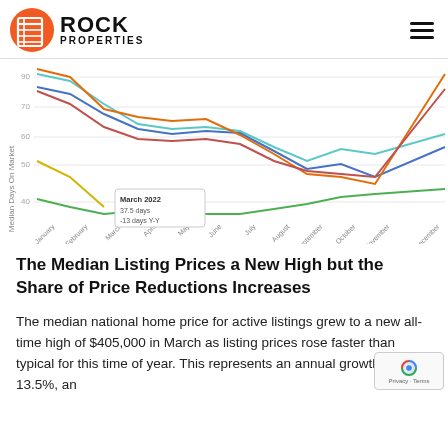Rock Properties
[Figure (line-chart): Multi-line chart showing Median Days On Market by month across multiple years. Tooltip shows March 2022: 37.5 days, -13 days Y-Y. Lines in teal/cyan, blue, orange/red, orange, green, and yellow colors.]
The Median Listing Prices a New High but the Share of Price Reductions Increases
The median national home price for active listings grew to a new all-time high of $405,000 in March as listing prices rose faster than typical for this time of year. This represents an annual growth rate of 13.5%, an